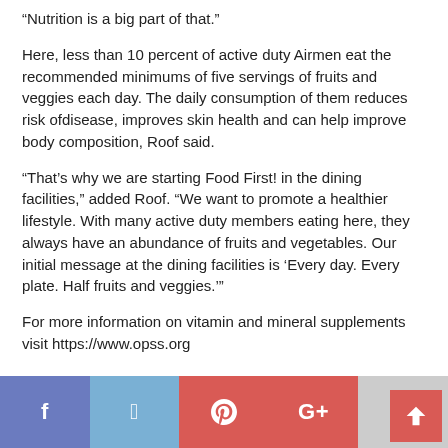“Nutrition is a big part of that.”
Here, less than 10 percent of active duty Airmen eat the recommended minimums of five servings of fruits and veggies each day. The daily consumption of them reduces risk ofdisease, improves skin health and can help improve body composition, Roof said.
“That’s why we are starting Food First! in the dining facilities,” added Roof. “We want to promote a healthier lifestyle. With many active duty members eating here, they always have an abundance of fruits and vegetables. Our initial message at the dining facilities is ‘Every day. Every plate. Half fruits and veggies.’”
For more information on vitamin and mineral supplements visit https://www.opss.org